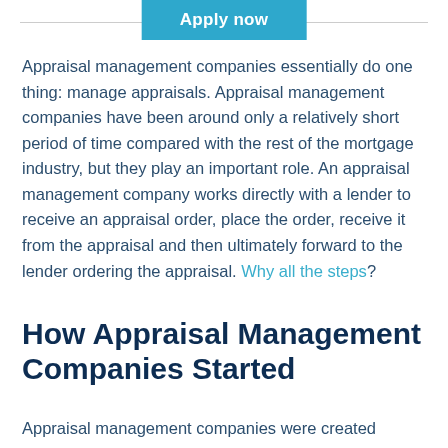Apply now
Appraisal management companies essentially do one thing: manage appraisals. Appraisal management companies have been around only a relatively short period of time compared with the rest of the mortgage industry, but they play an important role. An appraisal management company works directly with a lender to receive an appraisal order, place the order, receive it from the appraisal and then ultimately forward to the lender ordering the appraisal. Why all the steps?
How Appraisal Management Companies Started
Appraisal management companies were created